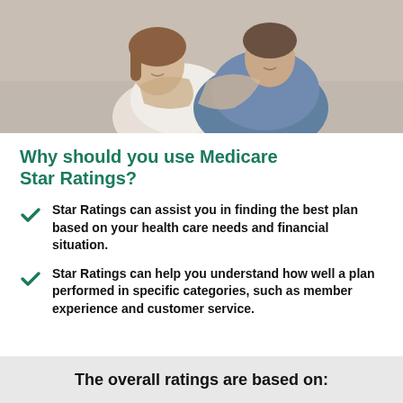[Figure (photo): Two women smiling and hugging on a couch, one in white top and one in blue shirt]
Why should you use Medicare Star Ratings?
Star Ratings can assist you in finding the best plan based on your health care needs and financial situation.
Star Ratings can help you understand how well a plan performed in specific categories, such as member experience and customer service.
The overall ratings are based on: